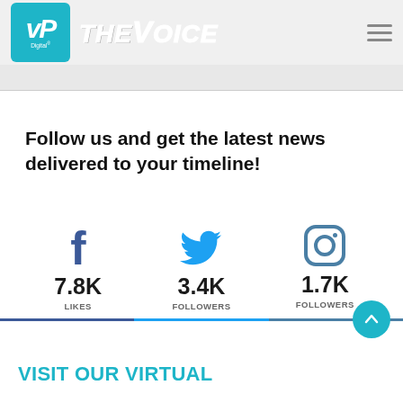VP Digital THE VOICE
Follow us and get the latest news delivered to your timeline!
[Figure (infographic): Social media follow counts: Facebook 7.8K Likes, Twitter 3.4K Followers, Instagram 1.7K Followers]
VISIT OUR VIRTUAL